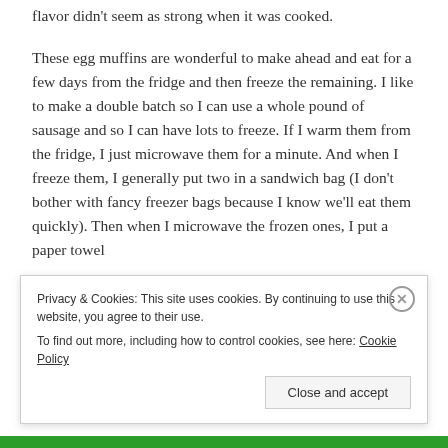flavor didn't seem as strong when it was cooked.
These egg muffins are wonderful to make ahead and eat for a few days from the fridge and then freeze the remaining. I like to make a double batch so I can use a whole pound of sausage and so I can have lots to freeze. If I warm them from the fridge, I just microwave them for a minute. And when I freeze them, I generally put two in a sandwich bag (I don't bother with fancy freezer bags because I know we'll eat them quickly). Then when I microwave the frozen ones, I put a paper towel
Privacy & Cookies: This site uses cookies. By continuing to use this website, you agree to their use.
To find out more, including how to control cookies, see here: Cookie Policy